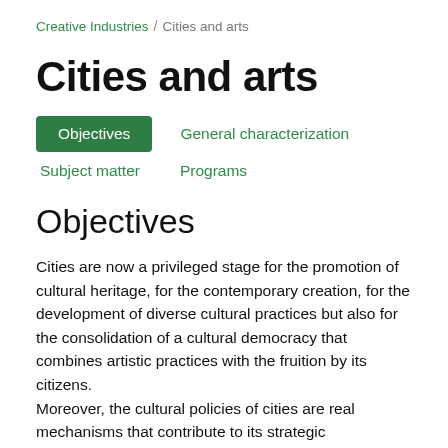Creative Industries / Cities and arts
Cities and arts
Objectives   General characterization   Subject matter   Programs
Objectives
Cities are now a privileged stage for the promotion of cultural heritage, for the contemporary creation, for the development of diverse cultural practices but also for the consolidation of a cultural democracy that combines artistic practices with the fruition by its citizens.
Moreover, the cultural policies of cities are real mechanisms that contribute to its strategic development,